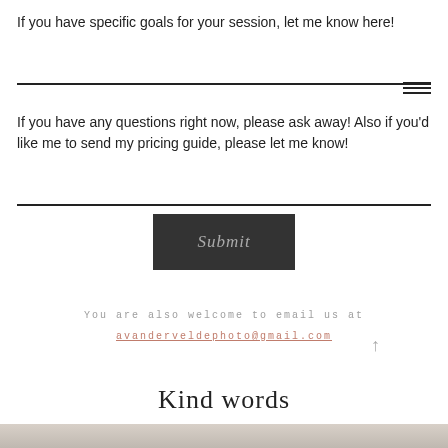If you have specific goals for your session, let me know here!
If you have any questions right now, please ask away! Also if you'd like me to send my pricing guide, please let me know!
[Figure (other): Dark grey submit button with cursive script text reading 'Submit']
You are also welcome to email us at
avanderveldephoto@gmail.com
Kind words
[Figure (photo): Partial photo at bottom of page showing a surface with writing implements]